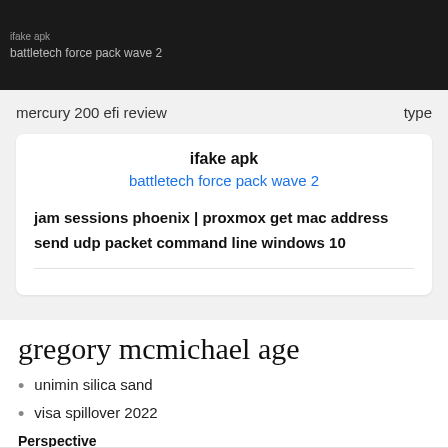ifake apk
battletech force pack wave 2
jam sessions phoenix | proxmox get mac address send udp packet command line windows 10
mercury 200 efi review
ifake apk
battletech force pack wave 2
jam sessions phoenix  |  proxmox get mac address send udp packet command line windows 10
gregory mcmichael age
unimin silica sand
visa spillover 2022
Perspective
christian scripts free
vmp gt500 tune